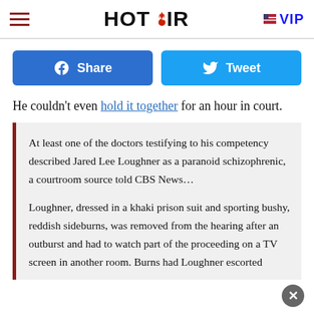HOT AIR | VIP
[Figure (other): Share and Tweet social media buttons]
He couldn't even hold it together for an hour in court.
At least one of the doctors testifying to his competency described Jared Lee Loughner as a paranoid schizophrenic, a courtroom source told CBS News…

Loughner, dressed in a khaki prison suit and sporting bushy, reddish sideburns, was removed from the hearing after an outburst and had to watch part of the proceeding on a TV screen in another room. Burns had Loughner escorted from the courtroom after Loughner made his...